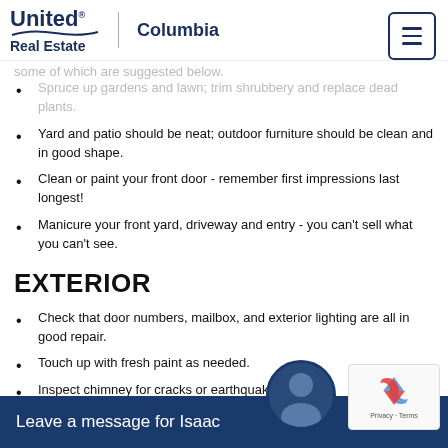United Real Estate | Columbia
Spruce up gardens and lawn; trim shrubbery and replace dead plants.
Yard and patio should be neat; outdoor furniture should be clean and in good shape.
Clean or paint your front door - remember first impressions last longest!
Manicure your front yard, driveway and entry - you can't sell what you can't see.
EXTERIOR
Check that door numbers, mailbox, and exterior lighting are all in good repair.
Touch up with fresh paint as needed.
Inspect chimney for cracks or earthquake damage.
Repair loose trim, drainpipes and fencing.
Clean stains; clean window screens.
GAR